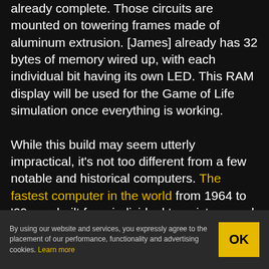already complete. Those circuits are mounted on towering frames made of aluminum extrusion. [James] already has 32 bytes of memory wired up, with each individual bit having its own LED. This RAM display will be used for the Game of Life simulation once everything is working.

While this build may seem utterly impractical, it's not too different from a few notable and historical computers. The fastest computer in the world from 1964 to '69 was built from individual transistors, and had even wider
By using our website and services, you expressly agree to the placement of our performance, functionality and advertising cookies. Learn more